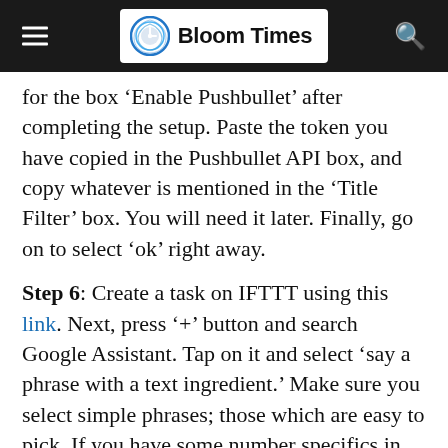Bloom Times
for the box 'Enable Pushbullet' after completing the setup. Paste the token you have copied in the Pushbullet API box, and copy whatever is mentioned in the 'Title Filter' box. You will need it later. Finally, go on to select 'ok' right away.
Step 6: Create a task on IFTTT using this link. Next, press '+' button and search Google Assistant. Tap on it and select 'say a phrase with a text ingredient.' Make sure you select simple phrases; those which are easy to pick. If you have some number specifics in mind, you can create a phrase using them too.
Step 7: Enter...